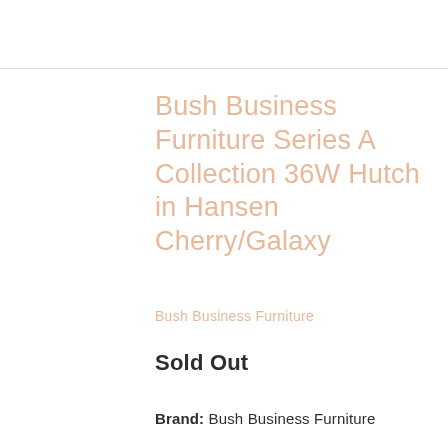Bush Business Furniture Series A Collection 36W Hutch in Hansen Cherry/Galaxy
Bush Business Furniture
Sold Out
Brand: Bush Business Furniture